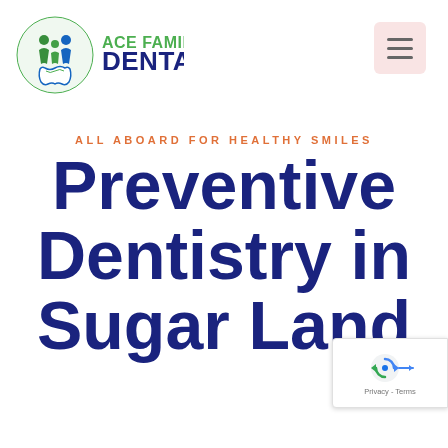[Figure (logo): Ace Family Dental logo with tooth and family icon in green and blue, text reads ACE FAMILY DENTAL]
[Figure (other): Hamburger menu button (three horizontal lines) on pink/light red background]
ALL ABOARD FOR HEALTHY SMILES
Preventive Dentistry in Sugar Land
[Figure (other): Google reCAPTCHA badge with arrow/refresh icon and Privacy - Terms text]